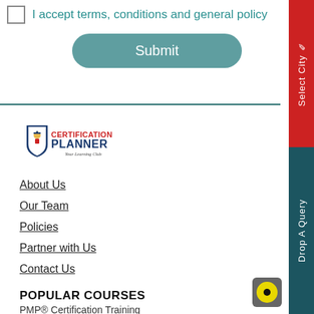I accept terms, conditions and general policy
Submit
[Figure (logo): Certification Planner logo - shield with graduation figure, red and dark blue text, tagline 'Your Learning Club']
About Us
Our Team
Policies
Partner with Us
Contact Us
POPULAR COURSES
PMP® Certification Training